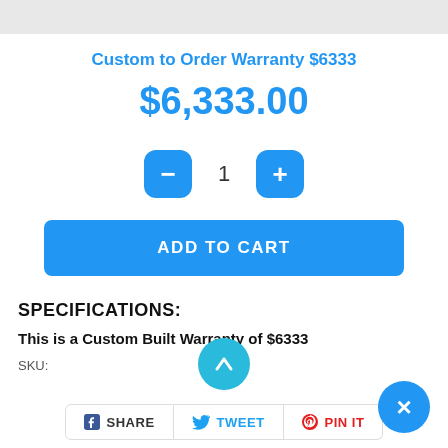Custom to Order Warranty $6333
$6,333.00
[Figure (other): Quantity selector with minus button, number 1, and plus button]
[Figure (other): ADD TO CART button]
SPECIFICATIONS:
This is a Custom Built Warranty of $6333
SKU:
[Figure (other): Scroll up button]
[Figure (other): Share row: Facebook SHARE, Twitter TWEET, Pinterest PIN IT]
[Figure (other): Close button (X)]